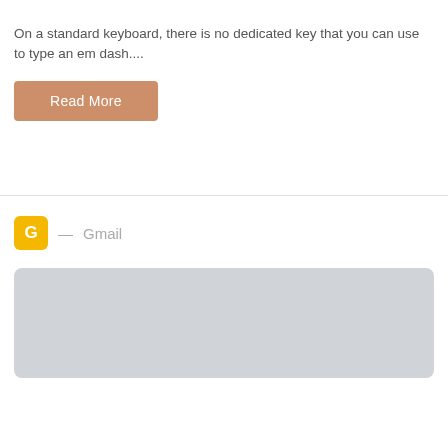On a standard keyboard, there is no dedicated key that you can use to type an em dash....
Read More
[Figure (screenshot): Gmail app icon — a yellow/orange rounded square with a white G, followed by an em dash and the text 'Gmail' in gray]
[Figure (screenshot): A gray rounded rectangle placeholder image block]